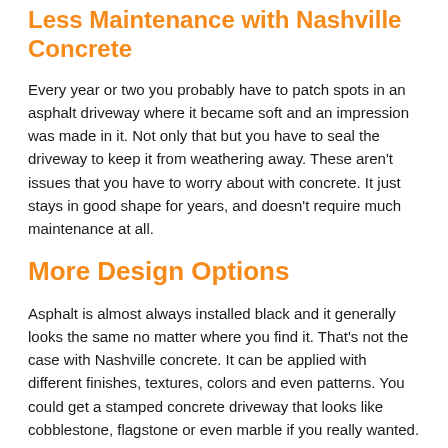Less Maintenance with Nashville Concrete
Every year or two you probably have to patch spots in an asphalt driveway where it became soft and an impression was made in it. Not only that but you have to seal the driveway to keep it from weathering away. These aren't issues that you have to worry about with concrete. It just stays in good shape for years, and doesn't require much maintenance at all.
More Design Options
Asphalt is almost always installed black and it generally looks the same no matter where you find it. That's not the case with Nashville concrete. It can be applied with different finishes, textures, colors and even patterns. You could get a stamped concrete driveway that looks like cobblestone, flagstone or even marble if you really wanted.
If you're in the market for a new driveway, you should really consider going with concrete. If you aren't sure about that decision, just take a moment to talk with a professional in the Nashville area to find out what your options are, what he